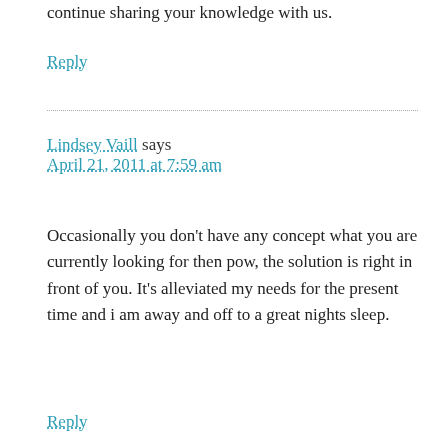continue sharing your knowledge with us.
Reply
Lindsey Vaill says
April 21, 2011 at 7:59 am
Occasionally you don't have any concept what you are currently looking for then pow, the solution is right in front of you. It's alleviated my needs for the present time and i am away and off to a great nights sleep.
Reply